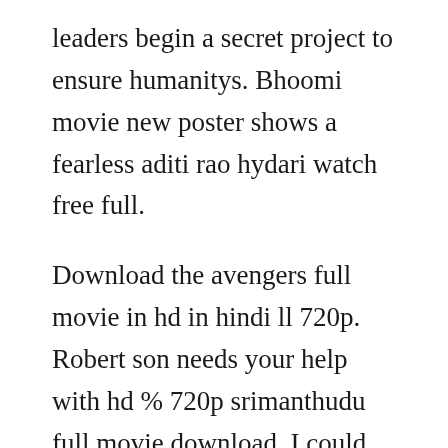leaders begin a secret project to ensure humanitys. Bhoomi movie new poster shows a fearless aditi rao hydari watch free full.
Download the avengers full movie in hd in hindi ll 720p. Robert son needs your help with hd % 720p srimanthudu full movie download. I could never watch another movie five times as i did with this one. If you visit the website, youll be greeted with the message fzmovies is the most trusted and popular mobile website for all your free mobile download needs. Harmony underworld full movie hard pornstar